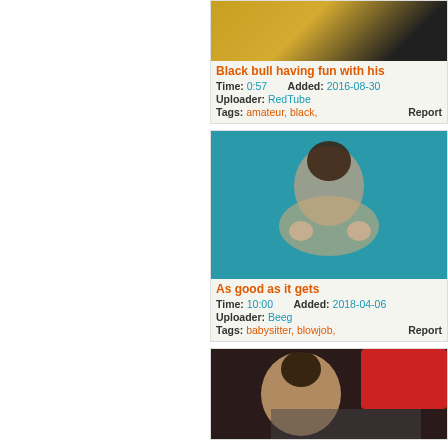[Figure (photo): Video thumbnail showing golden/dark background]
Black bull having fun with his
Time: 0:57   Added: 2016-08-30
Uploader: RedTube
Tags: amateur, black,   Report
[Figure (photo): Video thumbnail showing woman underwater in pool smiling]
As good as it gets
Time: 10:00   Added: 2018-04-06
Uploader: Beeg
Tags: babysitter, blowjob,   Report
[Figure (photo): Video thumbnail showing woman on couch with red pillows]